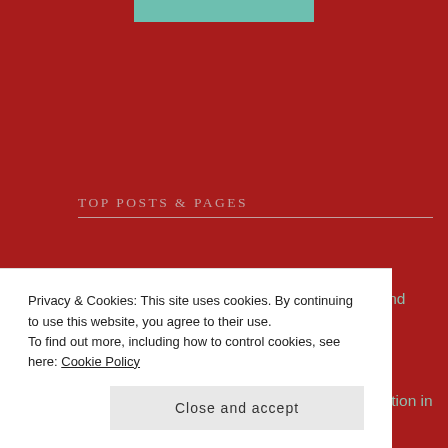[Figure (other): Teal/mint colored accent bar at top center of page]
TOP POSTS & PAGES
Why Some Kids With ADHD Seek Attention and Play “Class Clown” : Understood
When It’s Not ADHD: Other Causes of Inattention in Children
Social care overlooked once again as Tories move to boost NHS recruitment : Care Home Professional | Carer Voice
Privacy & Cookies: This site uses cookies. By continuing to use this website, you agree to their use.
To find out more, including how to control cookies, see here: Cookie Policy
Close and accept